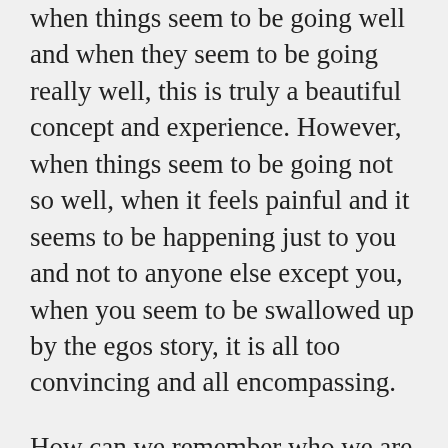when things seem to be going well and when they seem to be going really well, this is truly a beautiful concept and experience. However, when things seem to be going not so well, when it feels painful and it seems to be happening just to you and not to anyone else except you, when you seem to be swallowed up by the egos story, it is all too convincing and all encompassing.
How can we remember who we are more often? And how can we pull ourselves back up out of the quagmire and remember it's a version of reality that the ego would have us believe? Hmm...
There are a few different things I do